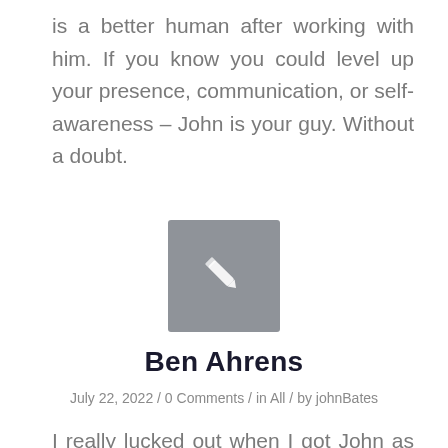is a better human after working with him. If you know you could level up your presence, communication, or self-awareness – John is your guy. Without a doubt.
[Figure (illustration): Gray square placeholder image with a white pencil/edit icon in the center]
Ben Ahrens
July 22, 2022 / 0 Comments / in All / by johnBates
I really lucked out when I got John as my